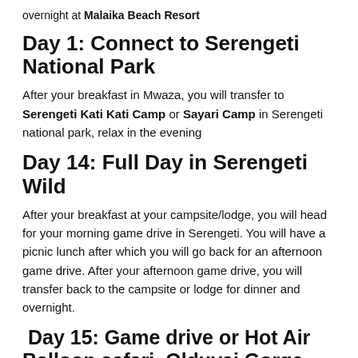overnight at Malaika Beach Resort
Day 1: Connect to Serengeti National Park
After your breakfast in Mwaza, you will transfer to Serengeti Kati Kati Camp or Sayari Camp in Serengeti national park, relax in the evening
Day 14: Full Day in Serengeti Wild
After your breakfast at your campsite/lodge, you will head for your morning game drive in Serengeti. You will have a picnic lunch after which you will go back for an afternoon game drive. After your afternoon game drive, you will transfer back to the campsite or lodge for dinner and overnight.
Day 15: Game drive or Hot Air Balloon safari, Olduvai Gorge